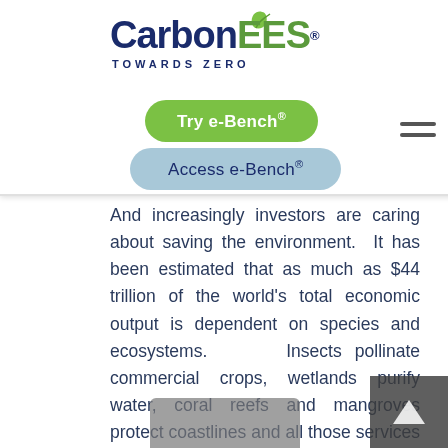[Figure (logo): CarbonEES logo with leaf icon and tagline TOWARDS ZERO, plus Try e-Bench and Access e-Bench buttons, and hamburger menu icon]
[Figure (photo): Decorative nature photo in top-right corner showing warm-colored landscape with flowers]
And increasingly investors are caring about saving the environment.  It has been estimated that as much as $44 trillion of the world’s total economic output is dependent on species and ecosystems.  Insects pollinate commercial crops, wetlands purify water, coral reefs and mangroves protect coastlines and all those services help fuel economic output. As our economy is embedded in nature, then the global decline of wildlife and ecosystems is a risk for